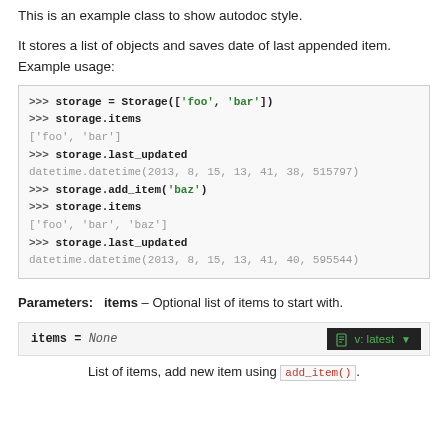This is an example class to show autodoc style.
It stores a list of objects and saves date of last appended item. Example usage:
>>> storage = Storage(['foo', 'bar'])
>>> storage.items
['foo', 'bar']
>>> storage.last_updated
datetime.datetime(2013, 8, 15, 13, 41, 38, 515797)
>>> storage.add_item('baz')
>>> storage.items
['foo', 'bar', 'baz']
>>> storage.last_updated
datetime.datetime(2013, 8, 15, 13, 41, 40, 595544)
Parameters: items – Optional list of items to start with.
items = None  v: latest
List of items, add new item using add_item().